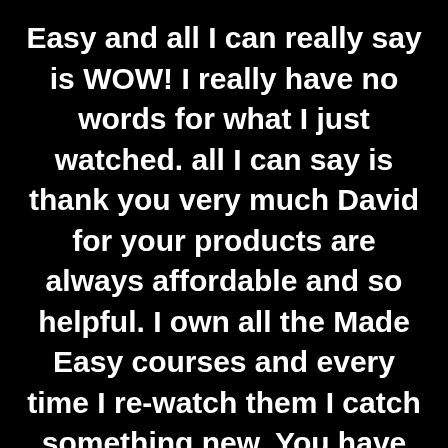Easy and all I can really say is WOW! I really have no words for what I just watched. all I can say is thank you very much David for your products are always affordable and so helpful. I own all the Made Easy courses and every time I re-watch them I catch something new. You have helped me enormously over the last year as I knew nothing about mixing and mastering and now when I am talking with my friends and producers I can hold